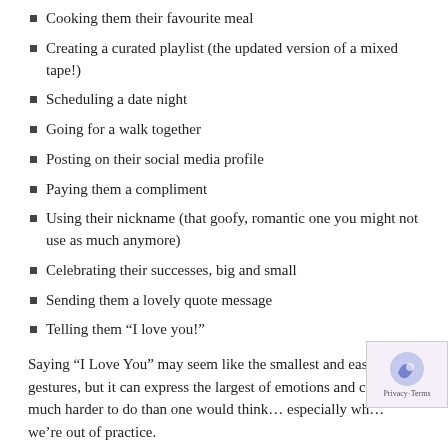Cooking them their favourite meal
Creating a curated playlist (the updated version of a mixed tape!)
Scheduling a date night
Going for a walk together
Posting on their social media profile
Paying them a compliment
Using their nickname (that goofy, romantic one you might not use as much anymore)
Celebrating their successes, big and small
Sending them a lovely quote message
Telling them "I love you!"
Saying “I Love You” may seem like the smallest and easiest of gestures, but it can express the largest of emotions and can be much harder to do than one would think… especially wh… we’re out of practice.
This beautiful collection of love quotes features over 100 of